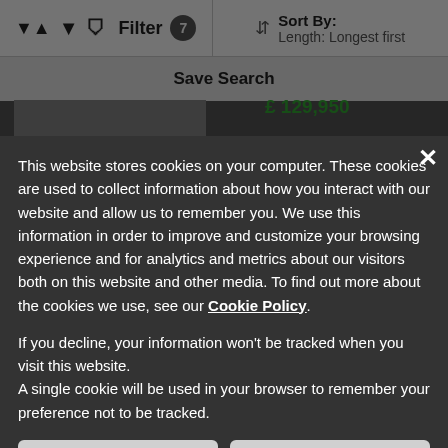Filter 7   Sort By: Length: Longest first
Save Search
This website stores cookies on your computer. These cookies are used to collect information about how you interact with our website and allow us to remember you. We use this information in order to improve and customize your browsing experience and for analytics and metrics about our visitors both on this website and other media. To find out more about the cookies we use, see our Cookie Policy.
If you decline, your information won't be tracked when you visit this website. A single cookie will be used in your browser to remember your preference not to be tracked.
By subscribing, you agree to our Terms of Use
Deny
Accept Cookies